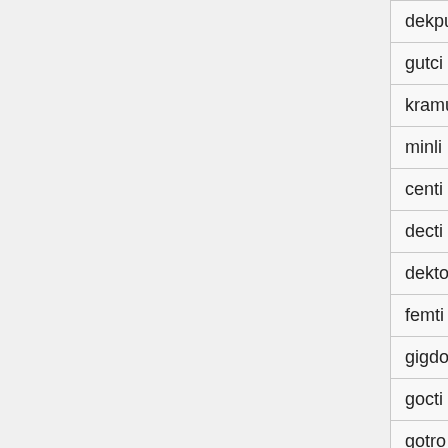| dekpu | gallon | Measure |
| gutci | cubit | Measure |
| kramu | acre | Measure |
| minli | mile | Measure |
| centi | 0.01 | Measure |
| decti | 0.1 | Measure |
| dekto | 10 | Measure |
| femti | 0.0000000000000001 | Measure |
| gigdo | 1000000000 | Measure |
| gocti | 0 | Measure |
| gotro | 1.00E+24 | Measure |